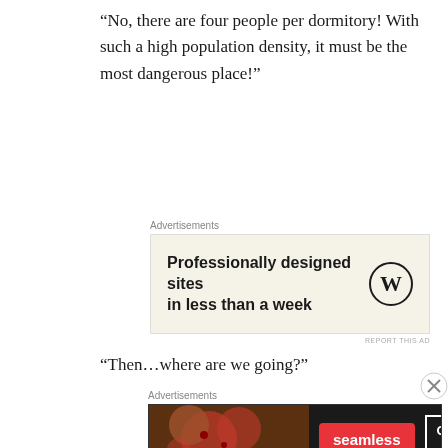“No, there are four people per dormitory! With such a high population density, it must be the most dangerous place!”
[Figure (other): Advertisement box with beige background showing 'Professionally designed sites in less than a week' with WordPress logo. Label reads 'Advertisements' above. 'REPORT THIS AD' text below.]
“Then…where are we going?”
“Wait, I’ll check my phone.”
One student opened up Luo Xun’s impressive post about the apocalypse.
[Figure (other): Advertisement box with dark background showing pizza image, Seamless logo button in red, and 'ORDER NOW' button. Label reads 'Advertisements' above. 'REPORT THIS AD' text below.]